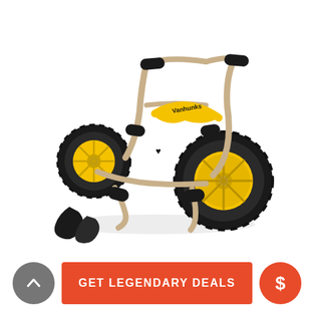[Figure (photo): A kayak cart / trolley with a gold/aluminum tubular frame, two large pneumatic tires with yellow rims, black foam padding on the cradle arms and handles, a yellow cross-brace labeled 'Vanhunks', and a pair of black rubber end caps in the foreground. The trolley is photographed on a white background at a three-quarter angle.]
[Figure (infographic): Bottom action bar with a dark gray circular button with an up-chevron icon on the left, a wide orange-red 'GET LEGENDARY DEALS' button in the center, and an orange-red circular button with a dollar sign on the right.]